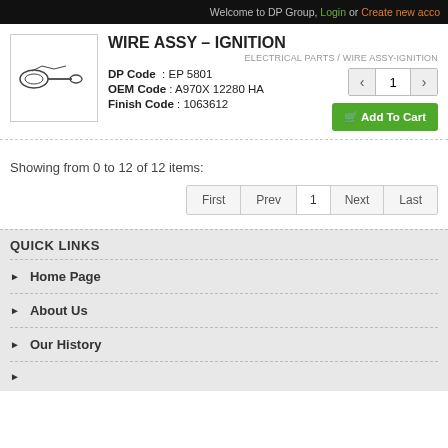Welcome to DP Group, Login or Create new account
WIRE ASSY - IGNITION
ELECTRICAL PARTS / WIRE ASSY-IGNITION
DP Code : EP 5801
OEM Code : A970X 12280 HA
Finish Code : 1063612
Showing from 0 to 12 of 12 items:
QUICK LINKS
Home Page
About Us
Our History